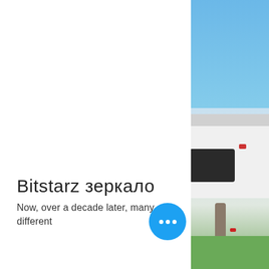[Figure (photo): Partial view of a white van/camper vehicle parked outdoors against a blue sky background with green grass, viewed from behind/side. Image is cropped to the right edge of the page.]
Bitstarz зеркало
Now, over a decade later, many different